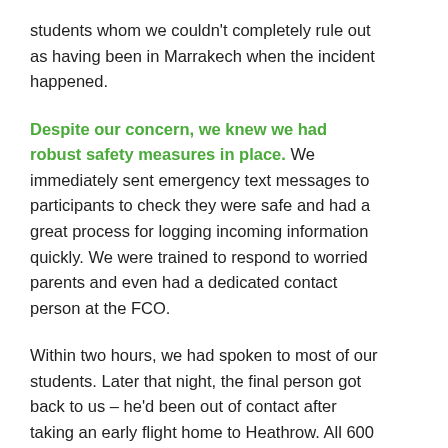students whom we couldn't completely rule out as having been in Marrakech when the incident happened.
Despite our concern, we knew we had robust safety measures in place. We immediately sent emergency text messages to participants to check they were safe and had a great process for logging incoming information quickly. We were trained to respond to worried parents and even had a dedicated contact person at the FCO.
Within two hours, we had spoken to most of our students. Later that night, the final person got back to us – he'd been out of contact after taking an early flight home to Heathrow. All 600 students were confirmed as safe, although some had been in the cafe at the time of the explosion and were understandably distressed.
I couldn't be more proud of the way my team reacted in